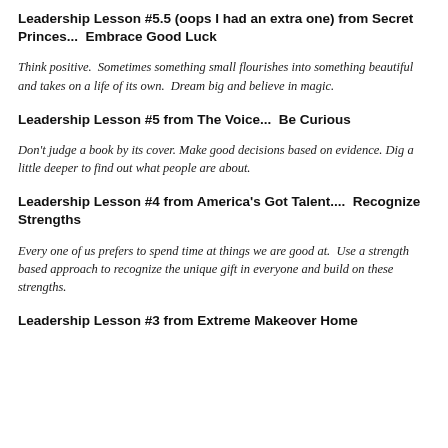Leadership Lesson #5.5 (oops I had an extra one) from Secret Princes...  Embrace Good Luck
Think positive.  Sometimes something small flourishes into something beautiful and takes on a life of its own.  Dream big and believe in magic.
Leadership Lesson #5 from The Voice...  Be Curious
Don't judge a book by its cover. Make good decisions based on evidence. Dig a little deeper to find out what people are about.
Leadership Lesson #4 from America's Got Talent....  Recognize Strengths
Every one of us prefers to spend time at things we are good at.  Use a strength based approach to recognize the unique gift in everyone and build on these strengths.
Leadership Lesson #3 from Extreme Makeover Home